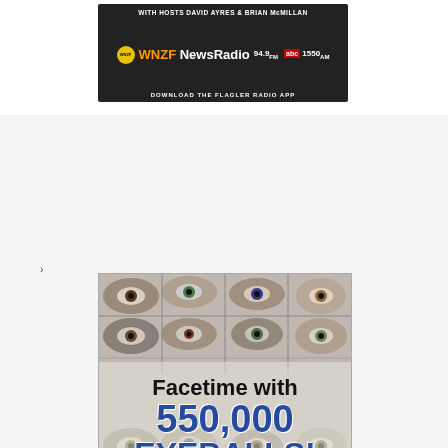[Figure (other): WNZF NewsRadio advertisement banner: 'WITH HOSTS DAVID AYRES & BRIAN McMILLAN / WNZF NewsRadio 94.9FM abc 1550AM / DOWNLOAD THE FLAGLER RADIO APP']
›
[Figure (other): FlaglerLive.com advertisement with collage of eyes in background. Text reads: 'Facetime with 550,000 EYEBALLS! Your News Source for Flagler, Florida & Beyond / FlaglerLive.com']